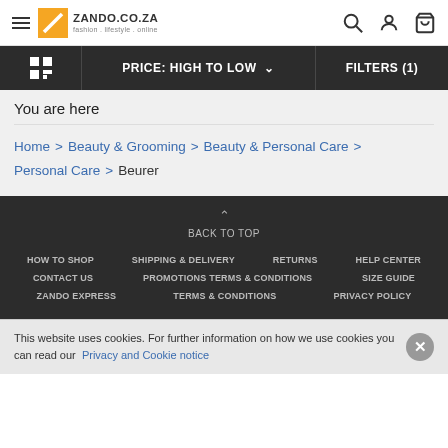Zando.co.za — fashion . lifestyle . online
PRICE: HIGH TO LOW ∨   FILTERS (1)
You are here
Home > Beauty & Grooming > Beauty & Personal Care > Personal Care > Beurer
BACK TO TOP | HOW TO SHOP | SHIPPING & DELIVERY | RETURNS | HELP CENTER | CONTACT US | PROMOTIONS TERMS & CONDITIONS | SIZE GUIDE | ZANDO EXPRESS | TERMS & CONDITIONS | PRIVACY POLICY
This website uses cookies. For further information on how we use cookies you can read our Privacy and Cookie notice